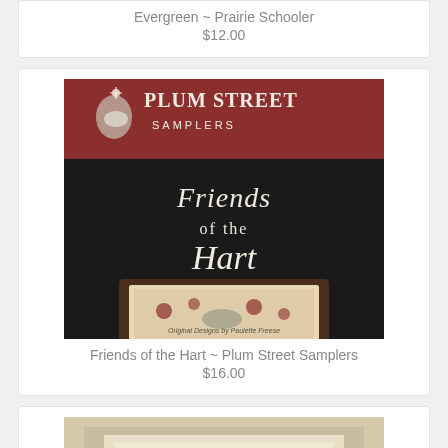Evergreen ~ Prairie Schooler
$12.00
[Figure (illustration): Cover image of Friends of the Hart by Plum Street Samplers — shows a dark background with cursive 'Friends of the Hart' text and a framed cross-stitch piece with floral and deer motif]
Friends of the Hart ~ Plum Street Samplers
$16.00
[Figure (photo): Partial view of a third product card showing a framed needlework piece on a light background]